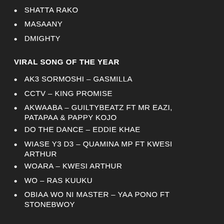SHATTA RAKO
MASAANY
DMIGHTY
VIRAL SONG OF THE YEAR
AK3 SORMOSHI – GASMILLA
CCTV – KING PROMISE
AKWAABA – GUILTYBEATZ FT MR EAZI, PATAPAA & PAPPY KOJO
DO THE DANCE – EDDIE KHAE
WIASE Y3 D3 – QUAMINA MP FT KWESI ARTHUR
WOARA – KWESI ARTHUR
WO – RAS KUUKU
OBIAA WO NI MASTER – YAA PONO FT STONEBWOY